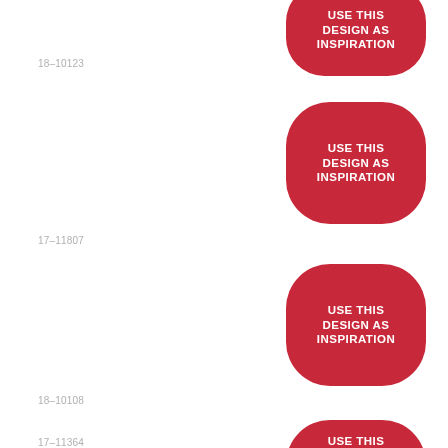[Figure (infographic): Red rounded rectangle badge with white bold text: USE THIS DESIGN AS INSPIRATION, partially cut off at top]
18-10123
[Figure (infographic): Red rounded rectangle badge with white bold text: USE THIS DESIGN AS INSPIRATION]
17-11807
[Figure (infographic): Red rounded rectangle badge with white bold text: USE THIS DESIGN AS INSPIRATION]
18-10108
[Figure (infographic): Red rounded rectangle badge with white bold text: USE THIS DESIGN AS INSPIRATION]
17-11364